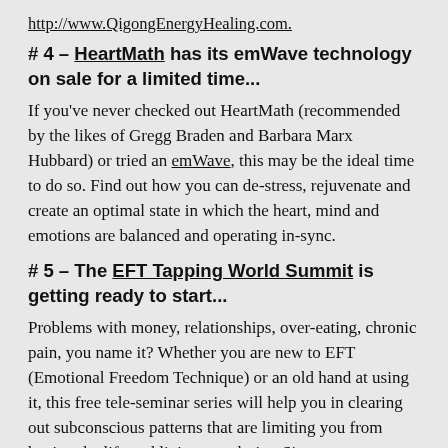http://www.QigongEnergyHealing.com.
# 4 – HeartMath has its emWave technology on sale for a limited time...
If you've never checked out HeartMath (recommended by the likes of Gregg Braden and Barbara Marx Hubbard) or tried an emWave, this may be the ideal time to do so. Find out how you can de-stress, rejuvenate and create an optimal state in which the heart, mind and emotions are balanced and operating in-sync.
# 5 – The EFT Tapping World Summit is getting ready to start...
Problems with money, relationships, over-eating, chronic pain, you name it? Whether you are new to EFT (Emotional Freedom Technique) or an old hand at using it, this free tele-seminar series will help you in clearing out subconscious patterns that are limiting you from having the life and living you desire. Sign up now so you don't miss any presentations....or catch them in replay at your